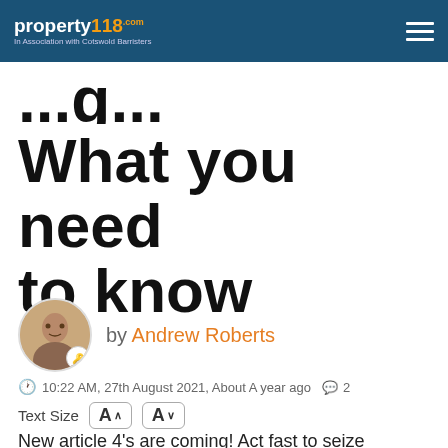property118 In Association with Cotswold Barristers
What you need to know
by Andrew Roberts
10:22 AM, 27th August 2021, About A year ago  2
Text Size  A↑  A↓
New article 4's are coming! Act fast to seize opportunities before the door closes on you. Linda and I break down everything you need to know following a review of statements from over 30